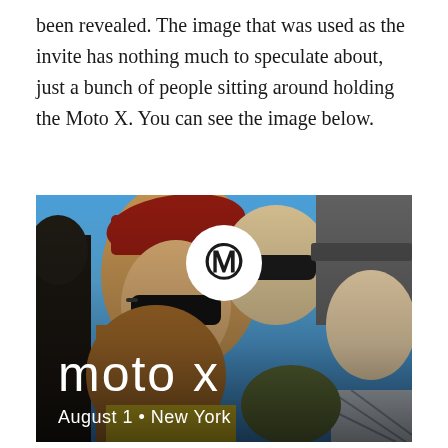been revealed. The image that was used as the invite has nothing much to speculate about, just a bunch of people sitting around holding the Moto X. You can see the image below.
[Figure (photo): Motorola Moto X event invite photo showing a group of young people outdoors in bright sunlight, with the Motorola logo (white circle with M) and 'moto x' text and 'August 1 • New York' text overlaid at the bottom.]